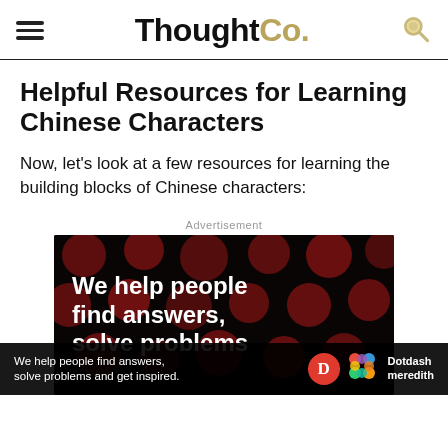ThoughtCo.
Helpful Resources for Learning Chinese Characters
Now, let's look at a few resources for learning the building blocks of Chinese characters:
[Figure (other): Advertisement banner: dark background with large red dots pattern, white bold text reading 'We help people find answers, solve problems' with a bottom bar showing 'We help people find answers, solve problems and get inspired.' alongside Dotdash Meredith logo.]